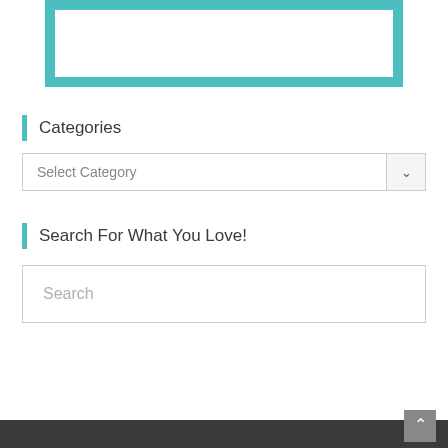[Figure (other): Teal-bordered rectangular box (partial image placeholder) at the top of the sidebar]
Categories
[Figure (other): Select Category dropdown widget with chevron arrow on right]
Search For What You Love!
[Figure (other): Search text input field with placeholder text 'Search']